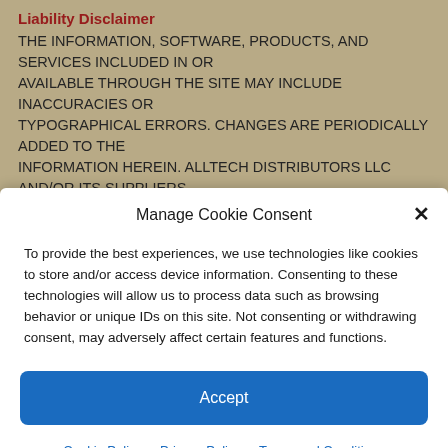Liability Disclaimer
THE INFORMATION, SOFTWARE, PRODUCTS, AND SERVICES INCLUDED IN OR AVAILABLE THROUGH THE SITE MAY INCLUDE INACCURACIES OR TYPOGRAPHICAL ERRORS. CHANGES ARE PERIODICALLY ADDED TO THE INFORMATION HEREIN. ALLTECH DISTRIBUTORS LLC AND/OR ITS SUPPLIERS MAY MAKE IMPROVEMENTS AND/OR CHANGES IN THE SITE
Manage Cookie Consent
To provide the best experiences, we use technologies like cookies to store and/or access device information. Consenting to these technologies will allow us to process data such as browsing behavior or unique IDs on this site. Not consenting or withdrawing consent, may adversely affect certain features and functions.
Accept
Cookie Policy  Privacy Policy  Terms and Conditions